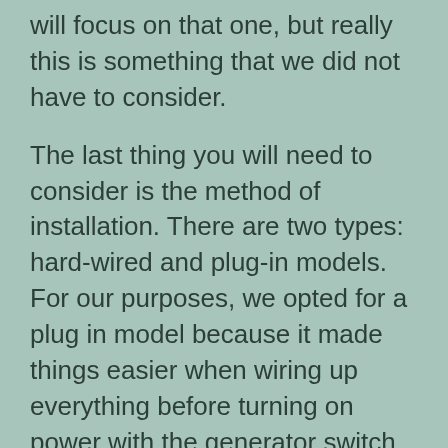will focus on that one, but really this is something that we did not have to consider.
The last thing you will need to consider is the method of installation. There are two types: hard-wired and plug-in models. For our purposes, we opted for a plug in model because it made things easier when wiring up everything before turning on power with the generator switch—which we recommend doing outside your home's breaker box!
There are two types of transfer switch that we considered: typical wall mounted switch which